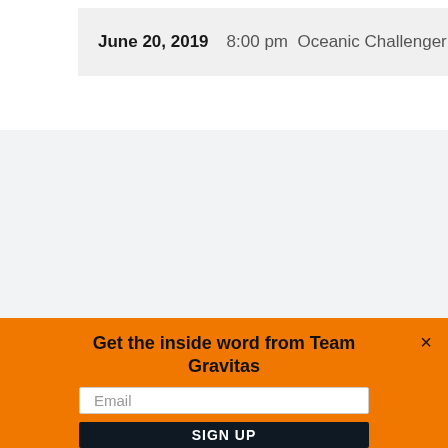June 20, 2019    8:00 pm   Oceanic Challenger Serie
Get the inside word from Team Gravitas
Email
SIGN UP